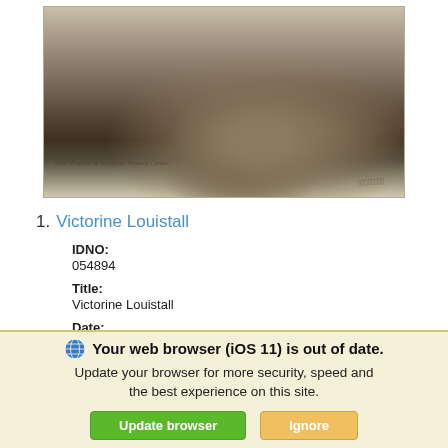[Figure (photo): Old sepia-toned photograph showing clasped hands, watermarked 'West Virginia & Regional History Center' with a handwritten signature in the lower right.]
1. Victorine Louistall
IDNO:
054894
Title:
Victorine Louistall
Date:
undated
Description:
Your web browser (iOS 11) is out of date.
Update your browser for more security, speed and the best experience on this site.